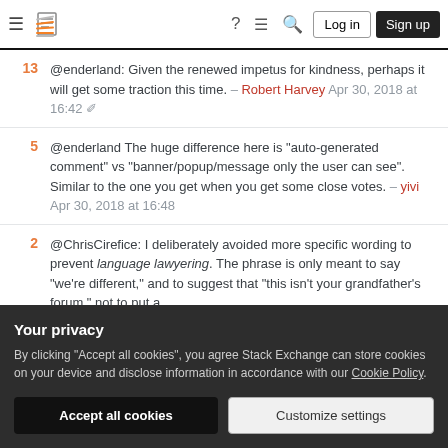Stack Exchange navigation bar with hamburger menu, logo, help, chat, search, Log in, Sign up buttons
@enderland: Given the renewed impetus for kindness, perhaps it will get some traction this time. – Robert Harvey Apr 30, 2018 at 16:42
@enderland The huge difference here is "auto-generated comment" vs "banner/popup/message only the user can see". Similar to the one you get when you get some close votes. – yivi Apr 30, 2018 at 16:48
@ChrisCirefice: I deliberately avoided more specific wording to prevent language lawyering. The phrase is only meant to say "we're different," and to suggest that "this isn't your grandfather's forum," not to put a particular user becomes the target of abuse. It's a
Your privacy
By clicking "Accept all cookies", you agree Stack Exchange can store cookies on your device and disclose information in accordance with our Cookie Policy.
[Accept all cookies] [Customize settings]